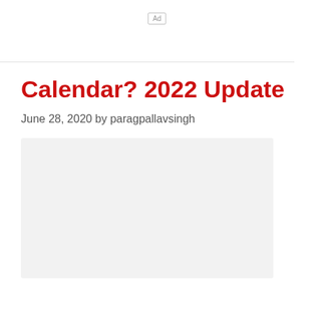Ad
Calendar? 2022 Update
June 28, 2020 by paragpallavsingh
[Figure (other): Light gray placeholder image block]